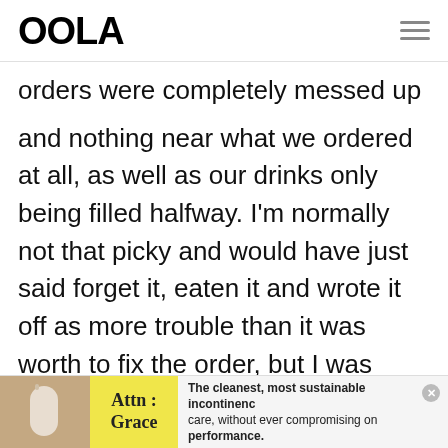OOLA
orders were completely messed up and nothing near what we ordered at all, as well as our drinks only being filled halfway. I'm normally not that picky and would have just said forget it, eaten it and wrote it off as more trouble than it was worth to fix the order, but I was here
[Figure (infographic): Advertisement banner for Attn: Grace incontinence care product. Shows brand name 'Attn: Grace' on yellow background with text: 'The cleanest, most sustainable incontinence care, without ever compromising on performance.']